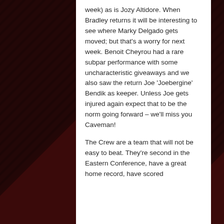week) as is Jozy Altidore.  When Bradley returns it will be interesting to see where Marky Delgado gets moved; but that's a worry for next week. Benoit Cheyrou had a rare subpar performance with some uncharacteristic giveaways and we also saw the return Joe 'Joebergine' Bendik as keeper.  Unless Joe gets injured again expect that to be the norm going forward – we'll miss you Caveman!
The Crew are a team that will not be easy to beat.  They're second in the Eastern Conference, have a great home record, have scored